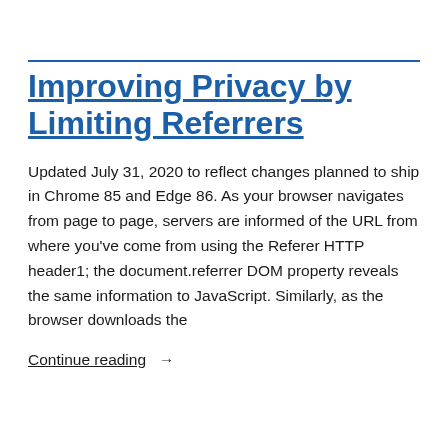Improving Privacy by Limiting Referrers
Updated July 31, 2020 to reflect changes planned to ship in Chrome 85 and Edge 86. As your browser navigates from page to page, servers are informed of the URL from where you've come from using the Referer HTTP header1; the document.referrer DOM property reveals the same information to JavaScript. Similarly, as the browser downloads the
Continue reading →